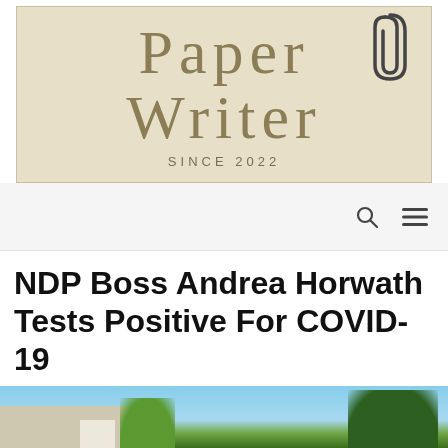[Figure (logo): Paper Writer logo on tan/beige textured background with large serif text 'Paper Writer' and 'SINCE 2022' below, with a paperclip graphic in the upper right]
[Figure (other): Navigation bar with search icon and hamburger menu icon]
NDP Boss Andrea Horwath Tests Positive For COVID-19
May 19, 2022 by Vaseline
[Figure (photo): Partial photo showing blue sky and trees at the bottom of the page]